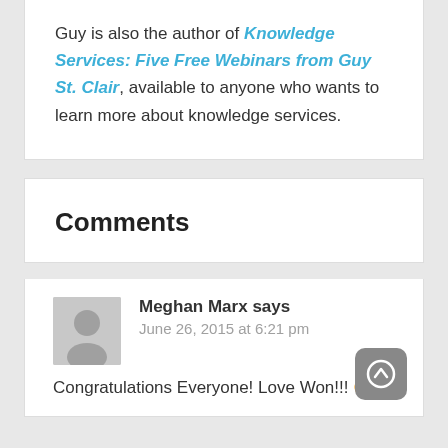Guy is also the author of Knowledge Services: Five Free Webinars from Guy St. Clair, available to anyone who wants to learn more about knowledge services.
Comments
Meghan Marx says
June 26, 2015 at 6:21 pm
Congratulations Everyone! Love Won!!! 🙂